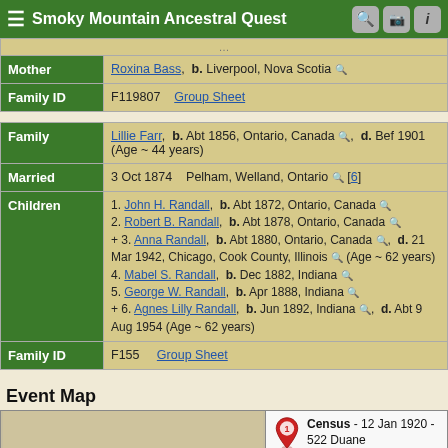Smoky Mountain Ancestral Quest
| Label | Data |
| --- | --- |
| Mother | Roxina Bass, b. Liverpool, Nova Scotia |
| Family ID | F119807 | Group Sheet |
| Label | Data |
| --- | --- |
| Family | Lillie Farr, b. Abt 1856, Ontario, Canada, d. Bef 1901 (Age ~ 44 years) |
| Married | 3 Oct 1874 | Pelham, Welland, Ontario [6] |
| Children | 1. John H. Randall, b. Abt 1872, Ontario, Canada
2. Robert B. Randall, b. Abt 1878, Ontario, Canada
+ 3. Anna Randall, b. Abt 1880, Ontario, Canada, d. 21 Mar 1942, Chicago, Cook County, Illinois (Age ~ 62 years)
4. Mabel S. Randall, b. Dec 1882, Indiana
5. George W. Randall, b. Apr 1888, Indiana
+ 6. Agnes Lilly Randall, b. Jun 1892, Indiana, d. Abt 9 Aug 1954 (Age ~ 62 years) |
| Family ID | F155 | Group Sheet |
Event Map
[Figure (map): Event map showing Census - 12 Jan 1920 - 522 Duane with a numbered pin marker (1)]